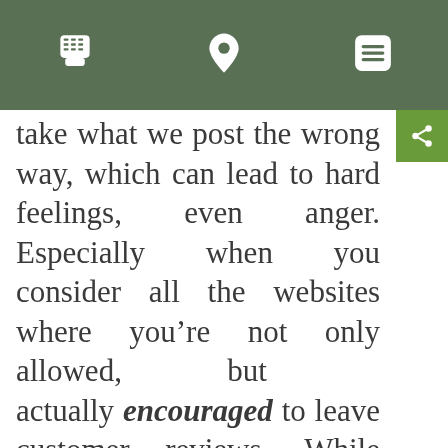[Navigation bar with phone, location, and menu icons]
take what we post the wrong way, which can lead to hard feelings, even anger. Especially when you consider all the websites where you’re not only allowed, but actually encouraged to leave customer reviews. While often times, an apology is sufficient, there are times when the simple act of leaving a review can lead to a lawsuit. The expense of hiring an attorney to defend you, along with all the legal fees